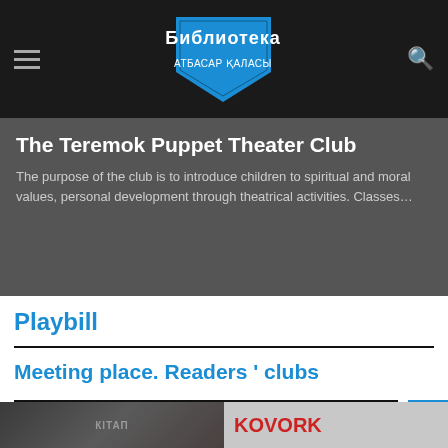Библиотека АТБАСАР ҚАЛАСЫ
The Teremok Puppet Theater Club
The purpose of the club is to introduce children to spiritual and moral values, personal development through theatrical activities. Classes…
Playbill
Meeting place. Readers ' clubs
[Figure (photo): Two photos side by side: left shows a dark textured image with Cyrillic text overlay, right shows a light background with KOVORK text in red]